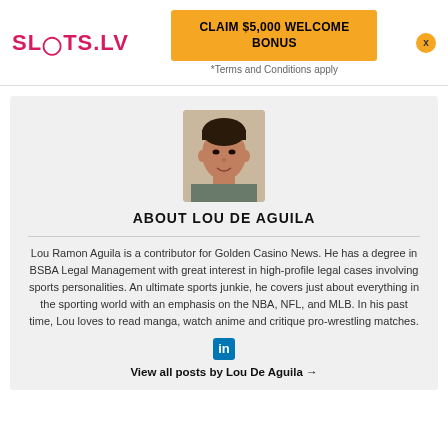[Figure (logo): SLOTS.LV logo in pink/red text]
[Figure (infographic): Orange button: CLAIM $5,000 WELCOME BONUS]
*Terms and Conditions apply
[Figure (photo): Headshot photo of Lou De Aguila]
ABOUT LOU DE AGUILA
Lou Ramon Aguila is a contributor for Golden Casino News. He has a degree in BSBA Legal Management with great interest in high-profile legal cases involving sports personalities. An ultimate sports junkie, he covers just about everything in the sporting world with an emphasis on the NBA, NFL, and MLB. In his past time, Lou loves to read manga, watch anime and critique pro-wrestling matches.
[Figure (logo): LinkedIn icon (in)]
View all posts by Lou De Aguila →